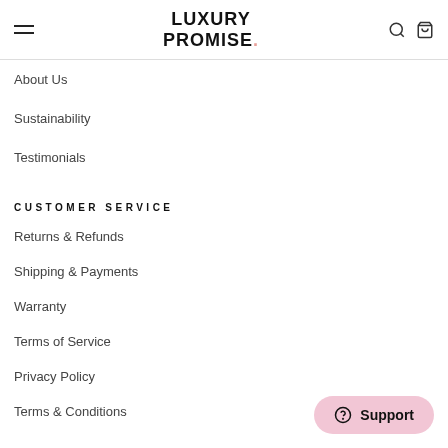LUXURY PROMISE.
About Us
Sustainability
Testimonials
CUSTOMER SERVICE
Returns & Refunds
Shipping & Payments
Warranty
Terms of Service
Privacy Policy
Terms & Conditions
[Figure (other): Support button with question mark icon and 'Support' label]